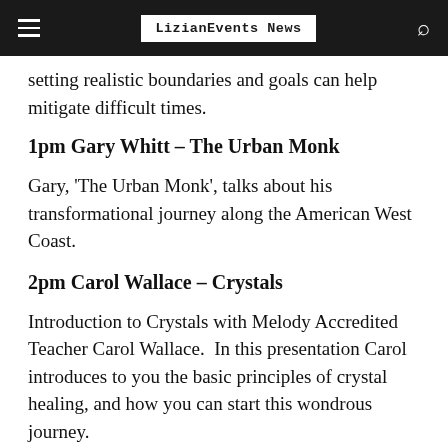LizianEvents News
setting realistic boundaries and goals can help mitigate difficult times.
1pm Gary Whitt – The Urban Monk
Gary, 'The Urban Monk', talks about his transformational journey along the American West Coast.
2pm Carol Wallace – Crystals
Introduction to Crystals with Melody Accredited Teacher Carol Wallace.  In this presentation Carol introduces to you the basic principles of crystal healing, and how you can start this wondrous journey.